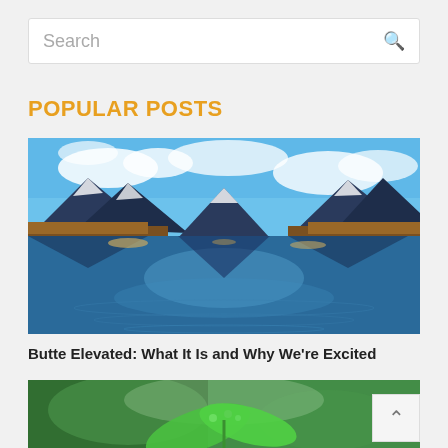Search
POPULAR POSTS
[Figure (photo): Mountain lake landscape with reflections of snow-capped mountains and autumn trees under a blue sky with clouds]
Butte Elevated: What It Is and Why We're Excited
[Figure (photo): Close-up of a green plant with blurred background]